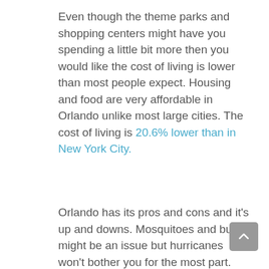Even though the theme parks and shopping centers might have you spending a little bit more then you would like the cost of living is lower than most people expect. Housing and food are very affordable in Orlando unlike most large cities. The cost of living is 20.6% lower than in New York City.
Orlando has its pros and cons and it's up and downs. Mosquitoes and bugs might be an issue but hurricanes won't bother you for the most part. Shopping might cost